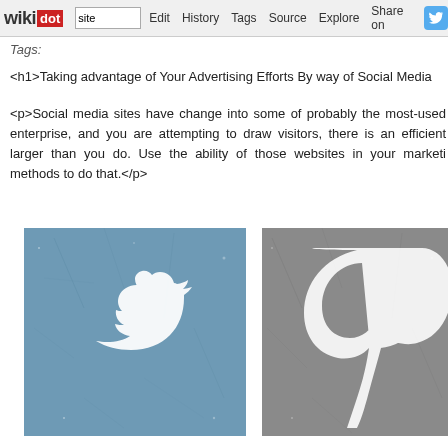wikidot | Edit | History | Tags | Source | Explore | Share on [Twitter]
Tags:
<h1>Taking advantage of Your Advertising Efforts By way of Social Media
<p>Social media sites have change into some of probably the most-used enterprise, and you are attempting to draw visitors, there is an efficient larger than you do. Use the ability of those websites in your marketi methods to do that.</p>
[Figure (illustration): Twitter bird logo on distressed blue-grey textured background]
[Figure (illustration): Pinterest 'P' logo on distressed grey textured background, partially cropped]